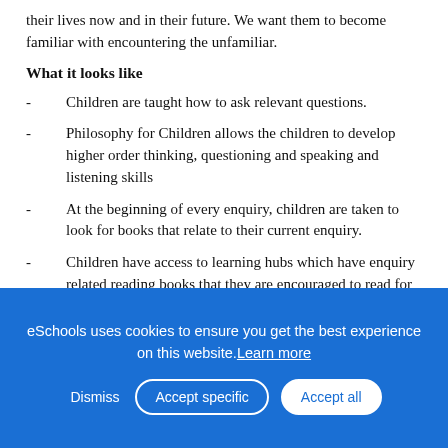their lives now and in their future. We want them to become familiar with encountering the unfamiliar.
What it looks like
- Children are taught how to ask relevant questions.
- Philosophy for Children allows the children to develop higher order thinking, questioning and speaking and listening skills
- At the beginning of every enquiry, children are taken to look for books that relate to their current enquiry.
- Children have access to learning hubs which have enquiry related reading books that they are encouraged to read for pleasure.
- School visits and visitors are used to inform and to inspire
- Learning journeys are shared with the children and children are given
eSchools uses cookies to ensure you get the best experience on this website. Learn more
Dismiss | Accept specific | Accept all